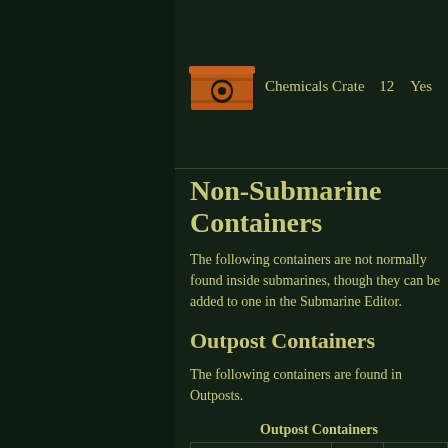| Image | Name | Slots | Constructable? |
| --- | --- | --- | --- |
| [Chemicals Crate image] | Chemicals Crate | 12 | Yes |
Non-Submarine Containers
The following containers are not normally found inside submarines, though they can be added to one in the Submarine Editor.
Outpost Containers
The following containers are found in Outposts.
Outpost Containers
|  |
|  |
|  |